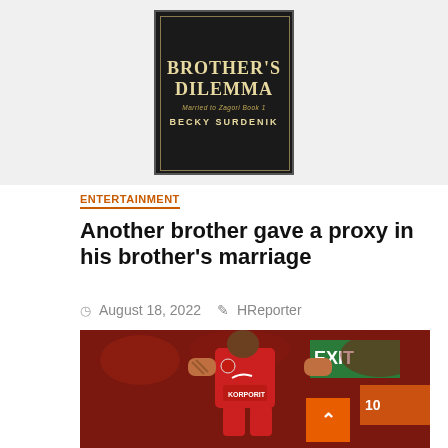[Figure (photo): Book cover for 'Brother's Dilemma' by Becky Surdenik, dark background with ornate golden lettering]
ENTERTAINMENT
Another brother gave a proxy in his brother's marriage
August 18, 2022   HReporter
[Figure (photo): A Liverpool FC footballer in a red jersey looking downward, photographed during a match with crowd in background. Badge shows '2 min read'.]
2 min read